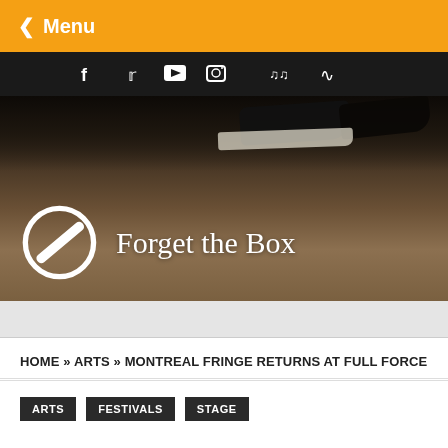< Menu
[Figure (illustration): Social media icons bar: Facebook, Twitter, YouTube, Instagram, SoundCloud, RSS on dark background]
[Figure (photo): Hero banner image showing feet/shoes on pavement with 'Forget the Box' logo (circular slash symbol and serif text) overlaid in white]
HOME » ARTS » MONTREAL FRINGE RETURNS AT FULL FORCE
ARTS
FESTIVALS
STAGE